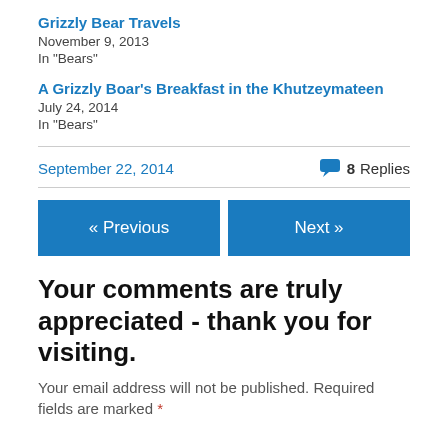Grizzly Bear Travels
November 9, 2013
In "Bears"
A Grizzly Boar's Breakfast in the Khutzeymateen
July 24, 2014
In "Bears"
September 22, 2014   8 Replies
« Previous   Next »
Your comments are truly appreciated - thank you for visiting.
Your email address will not be published. Required fields are marked *